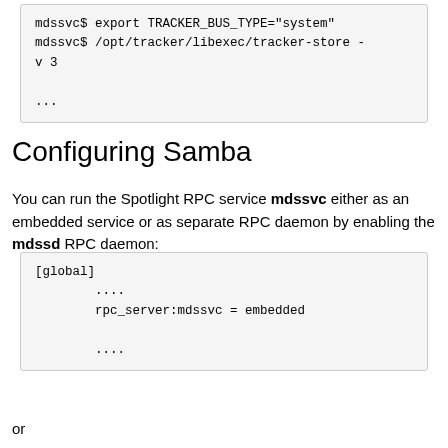mdssvc$ export TRACKER_BUS_TYPE="system"
mdssvc$ /opt/tracker/libexec/tracker-store -v 3
...
Configuring Samba
You can run the Spotlight RPC service mdssvc either as an embedded service or as separate RPC daemon by enabling the mdssd RPC daemon:
[global]
    ....
    rpc_server:mdssvc = embedded
    ....
or